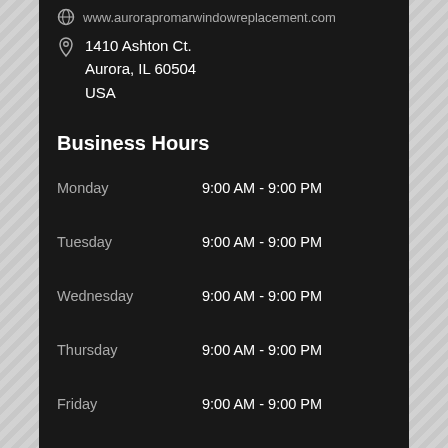www.aurorapromarwindowreplacement.com
1410 Ashton Ct.
Aurora, IL 60504
USA
Business Hours
| Day | Hours |
| --- | --- |
| Monday | 9:00 AM - 9:00 PM |
| Tuesday | 9:00 AM - 9:00 PM |
| Wednesday | 9:00 AM - 9:00 PM |
| Thursday | 9:00 AM - 9:00 PM |
| Friday | 9:00 AM - 9:00 PM |
| Saturday | 9:00 AM - 8:00 PM |
| Sunday | 9:00 AM - 7:00 PM |
Popular Services